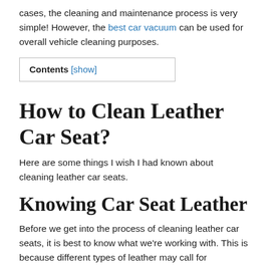cases, the cleaning and maintenance process is very simple! However, the best car vacuum can be used for overall vehicle cleaning purposes.
| Contents [show] |
| --- |
How to Clean Leather Car Seat?
Here are some things I wish I had known about cleaning leather car seats.
Knowing Car Seat Leather
Before we get into the process of cleaning leather car seats, it is best to know what we're working with. This is because different types of leather may call for